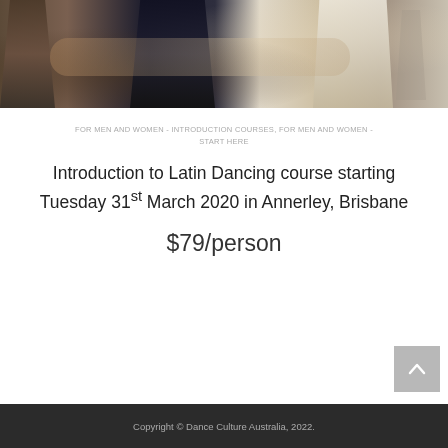[Figure (photo): People dancing in pairs at a dance studio, close-up of torsos and arms embracing, showing Latin dance hold positions]
FOR MEN AND WOMEN - INTRODUCTION COURSES, FOR MEN AND WOMEN - START HERE
Introduction to Latin Dancing course starting Tuesday 31st March 2020 in Annerley, Brisbane
$79/person
Copyright © Dance Culture Australia, 2022.